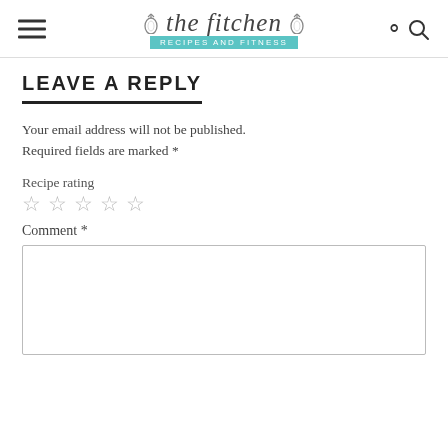the fitchen — RECIPES and FITNESS
LEAVE A REPLY
Your email address will not be published. Required fields are marked *
Recipe rating
☆ ☆ ☆ ☆ ☆
Comment *